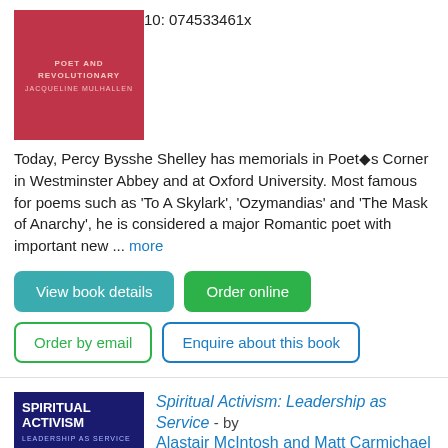10: 074533461x
Today, Percy Bysshe Shelley has memorials in Poet�s Corner in Westminster Abbey and at Oxford University. Most famous for poems such as 'To A Skylark', 'Ozymandias' and 'The Mask of Anarchy', he is considered a major Romantic poet with important new ... more
View book details
Order online
Order by email
Enquire about this book
[Figure (illustration): Book cover: red background with text POET AND REVOLUTIONARY, JACQUELINE MULHALLEN]
[Figure (illustration): Book cover: dark blue background with white text SPIRITUAL ACTIVISM, LEADERSHIP AS SERVICE, with a white circular design]
Spiritual Activism: Leadership as Service - by Alastair McIntosh and Matt Carmichael